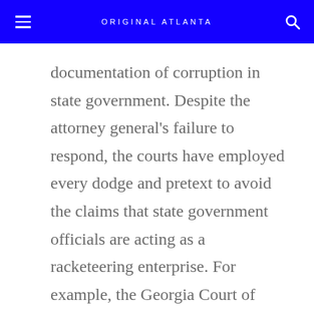ORIGINAL ATLANTA
documentation of corruption in state government. Despite the attorney general’s failure to respond, the courts have employed every dodge and pretext to avoid the claims that state government officials are acting as a racketeering enterprise. For example, the Georgia Court of Appeals refused to review the denial of the uncontested KSU action for bribery and extortion in a one-sentence